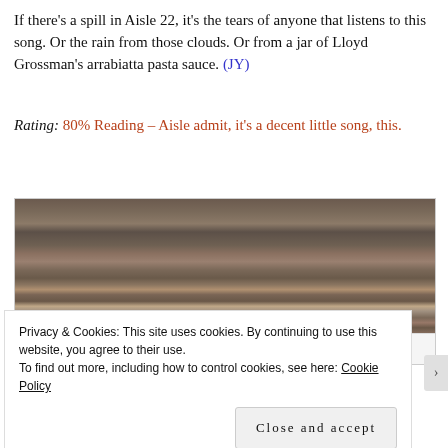If there's a spill in Aisle 22, it's the tears of anyone that listens to this song. Or the rain from those clouds. Or from a jar of Lloyd Grossman's arrabiatta pasta sauce. (JY)
Rating: 80% Reading – Aisle admit, it's a decent little song, this.
[Figure (screenshot): Screenshot of a music player showing granite/marble texture background with a media player bar at the bottom displaying 'My Luminaries – A Little Declaration [Live]' with a small thumbnail.]
Privacy & Cookies: This site uses cookies. By continuing to use this website, you agree to their use.
To find out more, including how to control cookies, see here: Cookie Policy
Close and accept